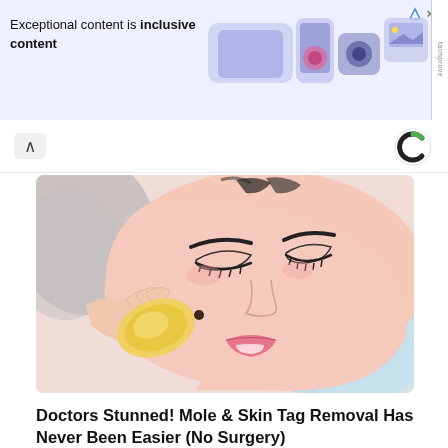[Figure (screenshot): Advertisement banner at top of page with text 'Exceptional content is inclusive content' and colorful device/media icons on the right, with taboola branding on far right edge]
[Figure (illustration): Cartoon/illustration style image of a woman lying down with eyes closed, having a yellow oval device applied to her cheek near a mole, suggesting mole/skin tag removal treatment]
Doctors Stunned! Mole & Skin Tag Removal Has Never Been Easier (No Surgery)